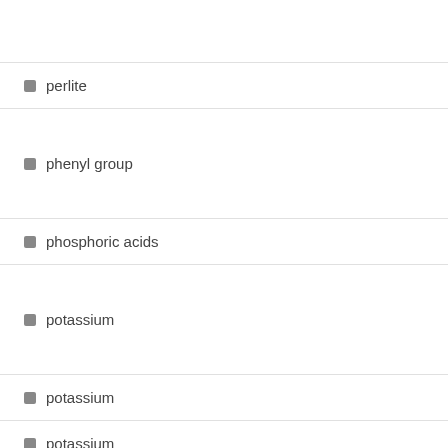perlite
phenyl group
phosphoric acids
potassium
potassium
potassium
silica gel